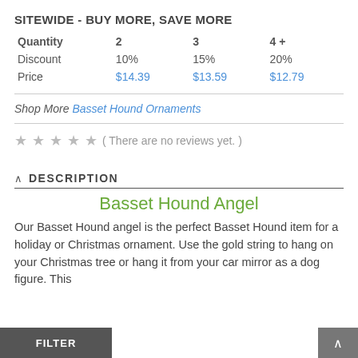SITEWIDE - BUY MORE, SAVE MORE
| Quantity | 2 | 3 | 4 + |
| --- | --- | --- | --- |
| Discount | 10% | 15% | 20% |
| Price | $14.39 | $13.59 | $12.79 |
Shop More Basset Hound Ornaments
( There are no reviews yet. )
DESCRIPTION
Basset Hound Angel
Our Basset Hound angel is the perfect Basset Hound item for a holiday or Christmas ornament. Use the gold string to hang on your Christmas tree or hang it from your car mirror as a dog figure. This